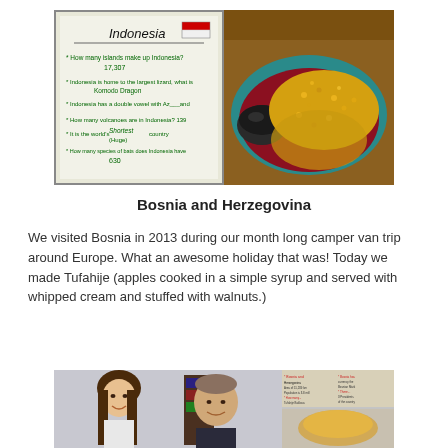[Figure (photo): Two photos side by side: left shows a whiteboard with 'Indonesia' written at top with Indonesian flag, and bullet point facts in green marker; right shows a food dish (corn fritters or similar) on a teal/red plate]
Bosnia and Herzegovina
We visited Bosnia in 2013 during our month long camper van trip around Europe. What an awesome holiday that was! Today we made Tufahije (apples cooked in a simple syrup and served with whipped cream and stuffed with walnuts.)
[Figure (photo): Bottom images: left shows a girl and man posing for a photo in front of a bookshelf; right shows two images of handwritten notes about Bosnia and Herzegovina]